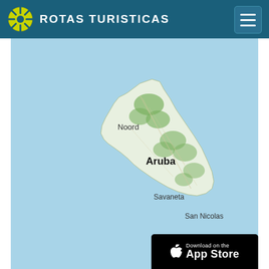ROTAS TURISTICAS
[Figure (map): Map of Aruba island showing locations: Noord in the northwest, Aruba label in the center, Savaneta in the south-center, and San Nicolas in the southeast. The island is shown with green terrain on a light blue ocean background.]
[Figure (screenshot): App Store download banner showing apple logo and 'Download on the App Store' text on black background]